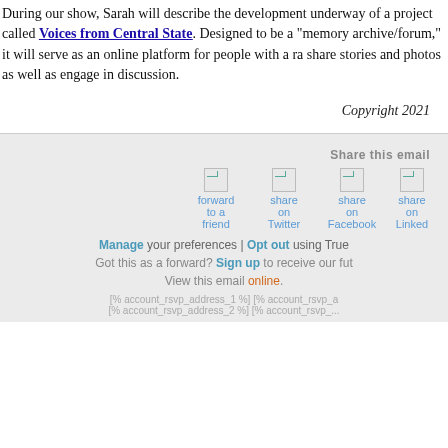During our show, Sarah will describe the development underway of a project called Voices from Central State. Designed to be a "memory archive/forum," it will serve as an online platform for people with a r... share stories and photos as well as engage in discussion.
Copyright 2021
Share this email
forward to a friend
share on Twitter
share on Facebook
share on LinkedIn
Manage your preferences | Opt out using TrueM...
Got this as a forward? Sign up to receive our fut...
View this email online.
[% account_rsvp_address_1 %] [% account_rsvp_a...
[% account_rsvp_address_2 %] [% account_rsvp_...